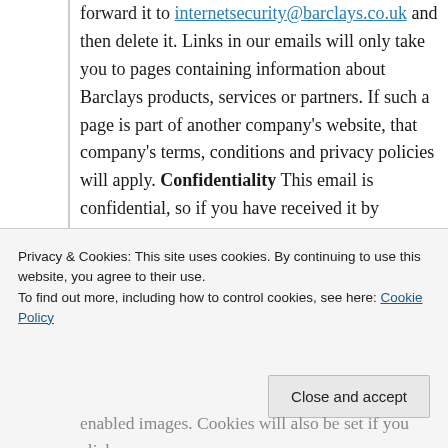forward it to internetsecurity@barclays.co.uk and then delete it. Links in our emails will only take you to pages containing information about Barclays products, services or partners. If such a page is part of another company's website, that company's terms, conditions and privacy policies will apply. Confidentiality This email is confidential, so if you have received it by mistake, or it isn't addressed to you, please delete it. It may also be privileged, which means you do not have to disclose it as part of legal proceedings. Email & Cookies If you enable images or click on a link, you agree that you give Barclays permission to use cookies and similar technologies (which
Privacy & Cookies: This site uses cookies. By continuing to use this website, you agree to their use.
To find out more, including how to control cookies, see here: Cookie Policy
Close and accept
enabled images. Cookies will also be set if you click on any